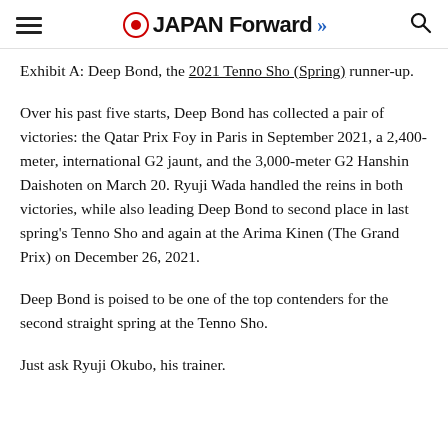JAPAN Forward
Exhibit A: Deep Bond, the 2021 Tenno Sho (Spring) runner-up.
Over his past five starts, Deep Bond has collected a pair of victories: the Qatar Prix Foy in Paris in September 2021, a 2,400-meter, international G2 jaunt, and the 3,000-meter G2 Hanshin Daishoten on March 20. Ryuji Wada handled the reins in both victories, while also leading Deep Bond to second place in last spring's Tenno Sho and again at the Arima Kinen (The Grand Prix) on December 26, 2021.
Deep Bond is poised to be one of the top contenders for the second straight spring at the Tenno Sho.
Just ask Ryuji Okubo, his trainer.